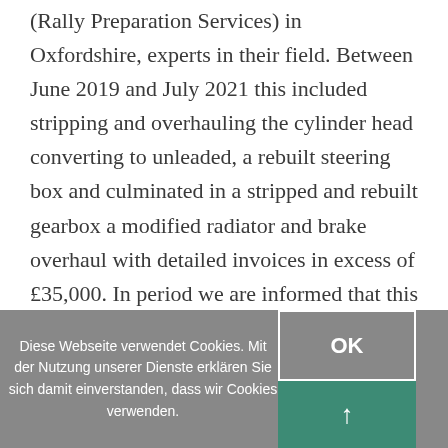(Rally Preparation Services) in Oxfordshire, experts in their field. Between June 2019 and July 2021 this included stripping and overhauling the cylinder head converting to unleaded, a rebuilt steering box and culminated in a stripped and rebuilt gearbox a modified radiator and brake overhaul with detailed invoices in excess of £35,000. In period we are informed that this car competed with racing driver Billy Bradshaw and was successful
Diese Webseite verwendet Cookies. Mit der Nutzung unserer Dienste erklären Sie sich damit einverstanden, dass wir Cookies verwenden.